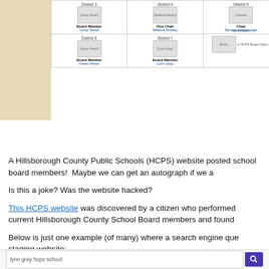[Figure (screenshot): Screenshot of Hillsborough County Public Schools website showing board member grid with Districts 3, 4, 5, 6, 7 and footer bar with school address. Districts show photos and names: Cindy Stuart (Board Member), Melissa Snively (Vice Chair), Tamara Shamburger (Chair), Karen Perez (Board Member), Lynn Gray (Board Member).]
A Hillsborough County Public Schools (HCPS) website posted school board members!  Maybe we can get an autograph if we a
Is this a joke? Was the website hacked?
This HCPS website was discovered by a citizen who performed current Hillsborough County School Board members and found
Below is just one example (of many) where a search engine que staging website:
[Figure (screenshot): Search engine query box with text 'lynn gray hcps school' and a purple search button]